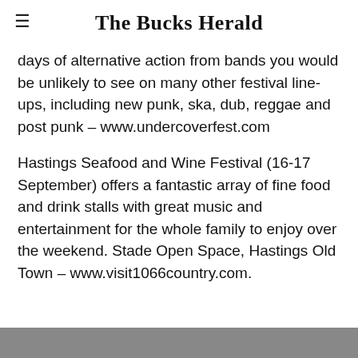The Bucks Herald
days of alternative action from bands you would be unlikely to see on many other festival line-ups, including new punk, ska, dub, reggae and post punk – www.undercoverfest.com
Hastings Seafood and Wine Festival (16-17 September) offers a fantastic array of fine food and drink stalls with great music and entertainment for the whole family to enjoy over the weekend. Stade Open Space, Hastings Old Town – www.visit1066country.com.